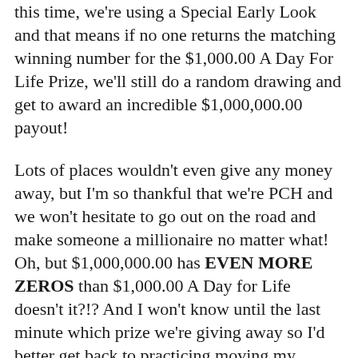this time, we're using a Special Early Look and that means if no one returns the matching winning number for the $1,000.00 A Day For Life Prize, we'll still do a random drawing and get to award an incredible $1,000,000.00 payout!
Lots of places wouldn't even give any money away, but I'm so thankful that we're PCH and we won't hesitate to go out on the road and make someone a millionaire no matter what! Oh, but $1,000,000.00 has EVEN MORE ZEROS than $1,000.00 A Day for Life doesn't it?!? And I won't know until the last minute which prize we're giving away so I'd better get back to practicing moving my decimal point so I'm ready for anything!